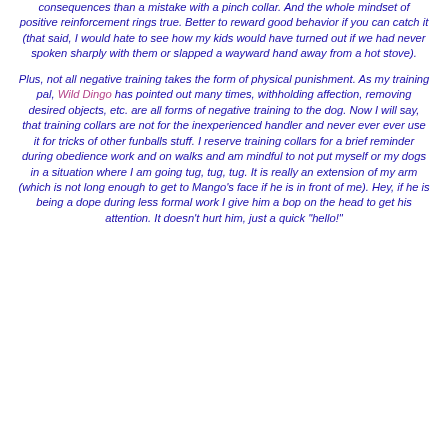consequences than a mistake with a pinch collar. And the whole mindset of positive reinforcement rings true. Better to reward good behavior if you can catch it (that said, I would hate to see how my kids would have turned out if we had never spoken sharply with them or slapped a wayward hand away from a hot stove).
Plus, not all negative training takes the form of physical punishment. As my training pal, Wild Dingo has pointed out many times, withholding affection, removing desired objects, etc. are all forms of negative training to the dog. Now I will say, that training collars are not for the inexperienced handler and never ever ever use it for tricks of other funballs stuff. I reserve training collars for a brief reminder during obedience work and on walks and am mindful to not put myself or my dogs in a situation where I am going tug, tug, tug. It is really an extension of my arm (which is not long enough to get to Mango's face if he is in front of me). Hey, if he is being a dope during less formal work I give him a bop on the head to get his attention. It doesn't hurt him, just a quick "hello!"